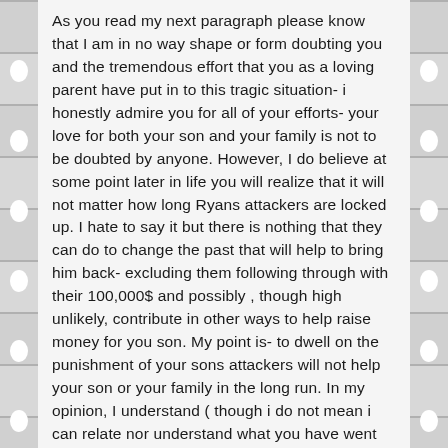As you read my next paragraph please know that I am in no way shape or form doubting you and the tremendous effort that you as a loving parent have put in to this tragic situation- i honestly admire you for all of your efforts- your love for both your son and your family is not to be doubted by anyone. However, I do believe at some point later in life you will realize that it will not matter how long Ryans attackers are locked up. I hate to say it but there is nothing that they can do to change the past that will help to bring him back- excluding them following through with their 100,000$ and possibly , though high unlikely, contribute in other ways to help raise money for you son. My point is- to dwell on the punishment of your sons attackers will not help your son or your family in the long run. In my opinion, I understand ( though i do not mean i can relate nor understand what you have went through) but I do understand that you would like justice to be